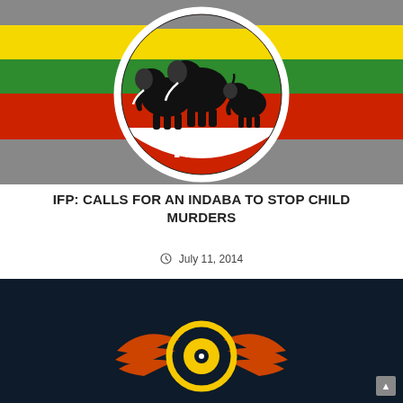[Figure (logo): IFP (Inkatha Freedom Party) logo: circular emblem with three black elephants on a background of horizontal stripes (grey, yellow, green, red). The letters IFP appear in white on a red semicircle at the bottom of the circle. Background is grey with coloured stripes.]
IFP: CALLS FOR AN INDABA TO STOP CHILD MURDERS
July 11, 2014
[Figure (logo): Logo with a golden/yellow circular emblem with orange wing-like shapes on a dark navy background, partially visible at the bottom of the page.]